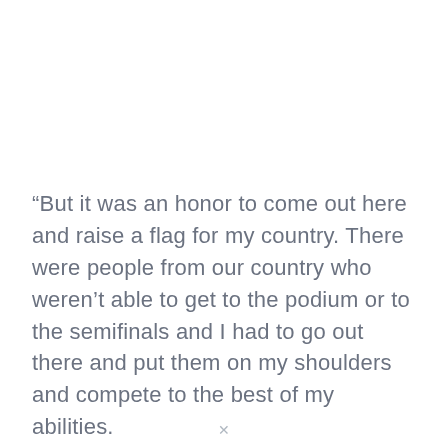“But it was an honor to come out here and raise a flag for my country. There were people from our country who weren’t able to get to the podium or to the semifinals and I had to go out there and put them on my shoulders and compete to the best of my abilities.
✕